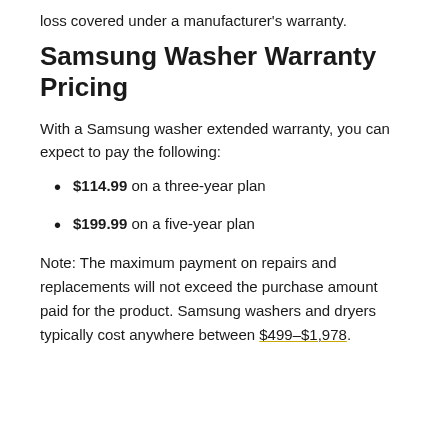loss covered under a manufacturer's warranty.
Samsung Washer Warranty Pricing
With a Samsung washer extended warranty, you can expect to pay the following:
$114.99 on a three-year plan
$199.99 on a five-year plan
Note: The maximum payment on repairs and replacements will not exceed the purchase amount paid for the product. Samsung washers and dryers typically cost anywhere between $499–$1,978.